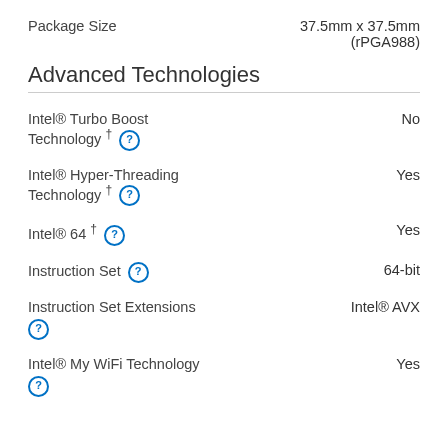Package Size — 37.5mm x 37.5mm (rPGA988)
Advanced Technologies
Intel® Turbo Boost Technology † — No
Intel® Hyper-Threading Technology † — Yes
Intel® 64 † — Yes
Instruction Set — 64-bit
Instruction Set Extensions — Intel® AVX
Intel® My WiFi Technology — Yes